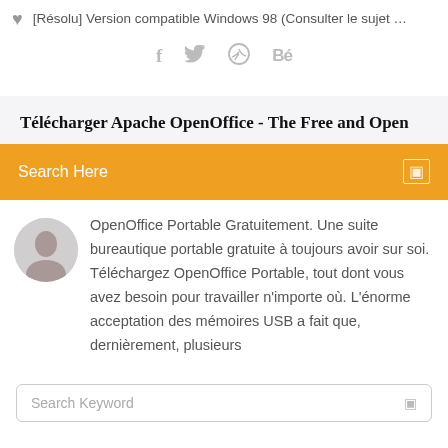[Résolu] Version compatible Windows 98 (Consulter le sujet …
[Figure (other): Social media icons: Facebook (f), Twitter (bird), Dribbble (circle), Behance (Be)]
Télécharger Apache OpenOffice - The Free and Open
Search Here
OpenOffice Portable Gratuitement. Une suite bureautique portable gratuite à toujours avoir sur soi. Téléchargez OpenOffice Portable, tout dont vous avez besoin pour travailler n'importe où. L'énorme acceptation des mémoires USB a fait que, dernièrement, plusieurs
Search Keyword